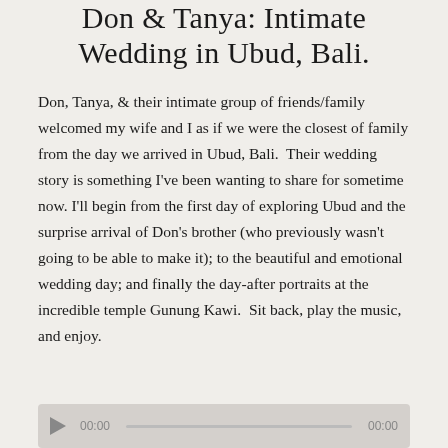Don & Tanya: Intimate Wedding in Ubud, Bali.
Don, Tanya, & their intimate group of friends/family welcomed my wife and I as if we were the closest of family from the day we arrived in Ubud, Bali.  Their wedding story is something I've been wanting to share for sometime now. I'll begin from the first day of exploring Ubud and the surprise arrival of Don's brother (who previously wasn't going to be able to make it); to the beautiful and emotional wedding day; and finally the day-after portraits at the incredible temple Gunung Kawi.  Sit back, play the music, and enjoy.
[Figure (other): Audio player widget with play button, timestamp 00:00, progress bar, and end time 00:00]